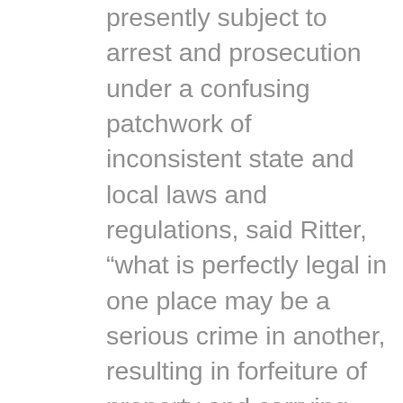presently subject to arrest and prosecution under a confusing patchwork of inconsistent state and local laws and regulations, said Ritter, “what is perfectly legal in one place may be a serious crime in another, resulting in forfeiture of property and carrying significant penalties including jail time. Enforcement is not uniform even within jurisdictions and is subject to the vagaries of political expediency at times. Sportsmen and workmen who travel are particularly vulnerable.” “The culmination of almost three years of effort, Knife Rights developed the Knife Owners’ Protection Act to address this absurd situation in a commonsense manner that is fair and equitable and is based on established legislative and legal precedent,” Ritter noted, “we’ve fought hard to defend the right to carry a knife in the individual states, cities and towns, but KOPA represents a key initiative to protect law-abiding knife owners simply passing through areas like New York City where possessing the most commonly owned pocket knife in America today, the one-hand